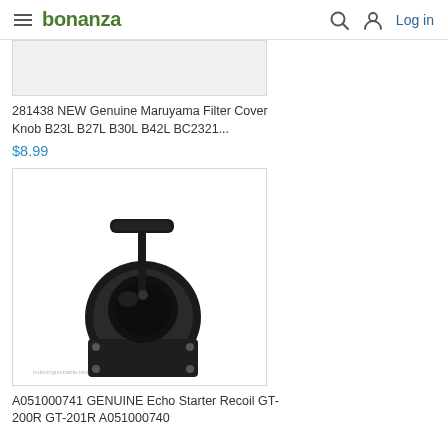bonanza | Log in
[Figure (photo): Product image placeholder - top portion of Maruyama Filter Cover Knob product]
281438 NEW Genuine Maruyama Filter Cover Knob B23L B27L B30L B42L BC2321...
$8.99
[Figure (photo): Black recoil starter assembly with T-bar pull handle, for Echo GT-200R GT-201R chainsaw/trimmer]
A051000741 GENUINE Echo Starter Recoil GT-200R GT-201R A051000740